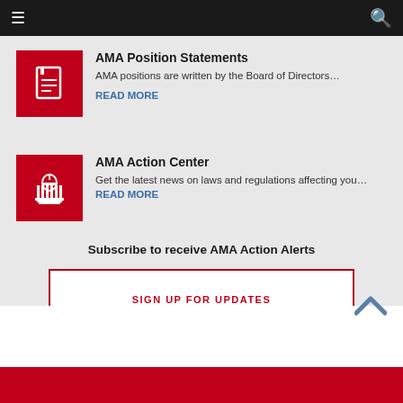AMA website navigation header with hamburger menu and search icon
AMA Position Statements
AMA positions are written by the Board of Directors…
READ MORE
AMA Action Center
Get the latest news on laws and regulations affecting you…READ MORE
Subscribe to receive AMA Action Alerts
SIGN UP FOR UPDATES